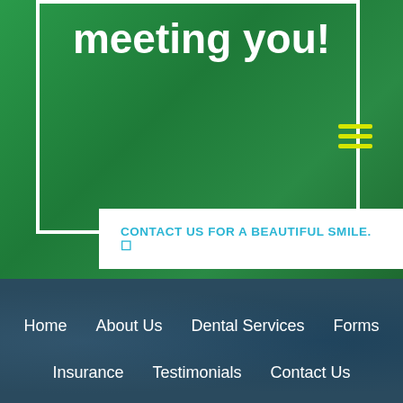meeting you!
CONTACT US FOR A BEAUTIFUL SMILE. ☐
[Figure (screenshot): Hamburger menu icon with three yellow-green horizontal lines on green background]
Home
About Us
Dental Services
Forms
Insurance
Testimonials
Contact Us